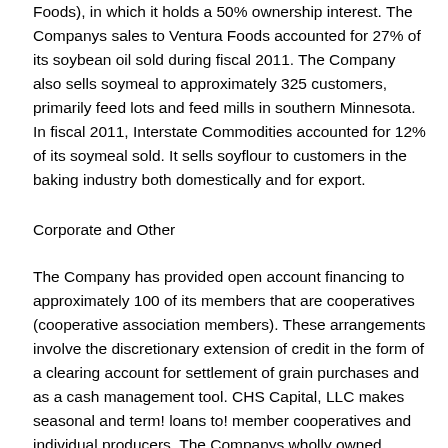Foods), in which it holds a 50% ownership interest. The Companys sales to Ventura Foods accounted for 27% of its soybean oil sold during fiscal 2011. The Company also sells soymeal to approximately 325 customers, primarily feed lots and feed mills in southern Minnesota. In fiscal 2011, Interstate Commodities accounted for 12% of its soymeal sold. It sells soyflour to customers in the baking industry both domestically and for export.
Corporate and Other
The Company has provided open account financing to approximately 100 of its members that are cooperatives (cooperative association members). These arrangements involve the discretionary extension of credit in the form of a clearing account for settlement of grain purchases and as a cash management tool. CHS Capital, LLC makes seasonal and term! loans to! member cooperatives and individual producers. The Companys wholly owned